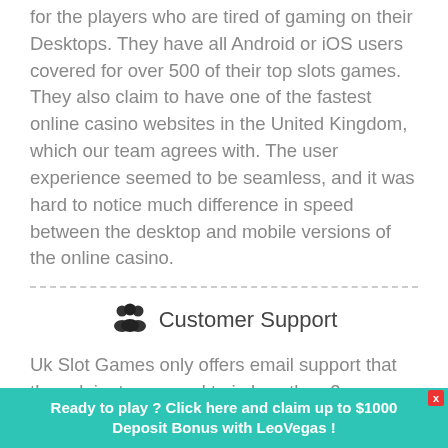for the players who are tired of gaming on their Desktops. They have all Android or iOS users covered for over 500 of their top slots games. They also claim to have one of the fastest online casino websites in the United Kingdom, which our team agrees with. The user experience seemed to be seamless, and it was hard to notice much difference in speed between the desktop and mobile versions of the online casino.
Customer Support
Uk Slot Games only offers email support that they claim to respond to in less than 2 business days. They provide an email to reach their customer service support: support@ukslotgames.com. You can also
Ready to play ? Click here and claim up to $1000 Deposit Bonus with LeoVegas !